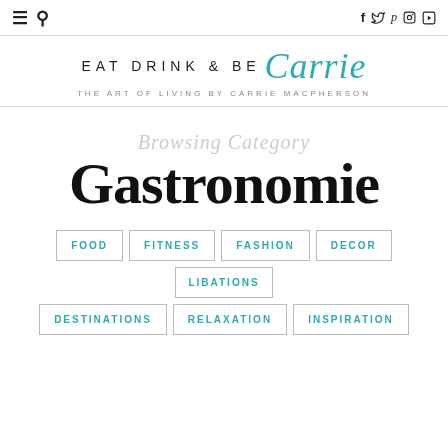≡ 🔍  f 🐦 p ◉ ▶
EAT DRINK & BE Carrie
THE ART OF LIVING BY CARRIE MACPHERSON
Browsing Category
Gastronomie
FOOD
FITNESS
FASHION
DECOR
LIBATIONS
DESTINATIONS
RELAXATION
INSPIRATION